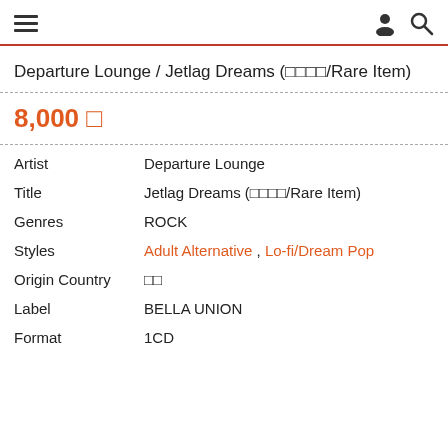[hamburger menu] [person icon] [search icon]
Departure Lounge / Jetlag Dreams (□□□□/Rare Item)
8,000 □
Artist   Departure Lounge
Title   Jetlag Dreams (□□□□/Rare Item)
Genres   ROCK
Styles   Adult Alternative , Lo-fi/Dream Pop
Origin Country   □□
Label   BELLA UNION
Format   1CD